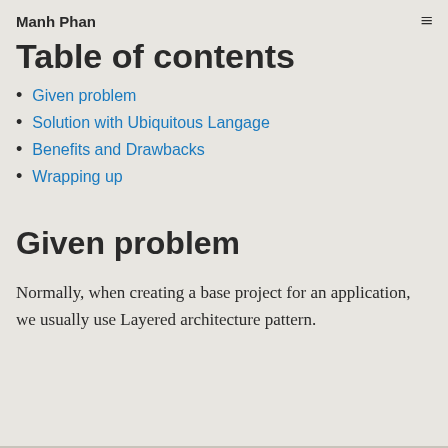Manh Phan
Table of contents
Given problem
Solution with Ubiquitous Langage
Benefits and Drawbacks
Wrapping up
Given problem
Normally, when creating a base project for an application, we usually use Layered architecture pattern.